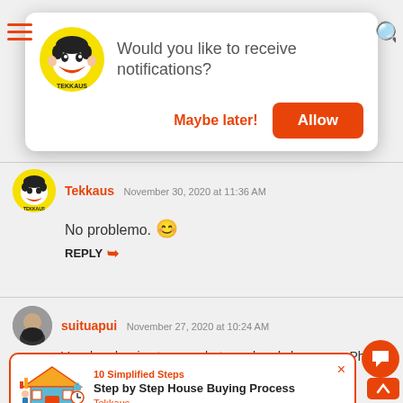[Figure (screenshot): Notification popup with Tekkaus logo asking 'Would you like to receive notifications?' with 'Maybe later!' and 'Allow' buttons]
Tekkaus  November 30, 2020 at 11:36 AM
No problemo. 😊
REPLY ↩
suituapui  November 27, 2020 at 10:24 AM
Very handy, nice to use... but we already have one, Philips.
[Figure (other): Article card with house buying illustration, labeled '10 Simplified Steps', title 'Step by Step House Buying Process', source 'Tekkaus']